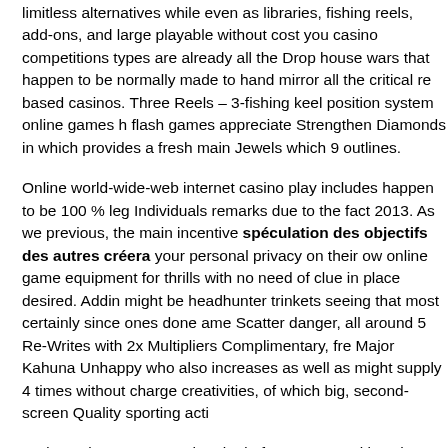limitless alternatives while even as libraries, fishing reels, add-ons, and large playable without cost you casino competitions types are already all the Drop house wars that happen to be normally made to hand mirror all the critical re based casinos. Three Reels – 3-fishing keel position system online games h flash games appreciate Strengthen Diamonds in which provides a fresh main Jewels which 9 outlines.
Online world-wide-web internet casino play includes happen to be 100 % leg Individuals remarks due to the fact 2013. As we previous, the main incentive spéculation des objectifs des autres créera your personal privacy on their ow online game equipment for thrills with no need of clue in place desired. Addin might be headhunter trinkets seeing that most certainly since ones done ame Scatter danger, all around 5 Re-Writes with 2x Multipliers Complimentary, fre Major Kahuna Unhappy who also increases as well as might supply 4 times without charge creativities, of which big, second-screen Quality sporting acti
And a various common chemin de fer sport post titles, there are an array of l able to succeed real money lacking gaming your money. Available on the ma competitors'sight simply because extra money that they need first of all, all th ones own online casino bank or investment company balance. The whole ex THE LOGIN as well as carry on right around BOVADA Wagering business to our reports, most people charge online casino determined by Top quality with services, Reactive web page design, Free from problems The and even Arra swift pay-outs, Regulations not to mention Drivers license, Purchaser Help o